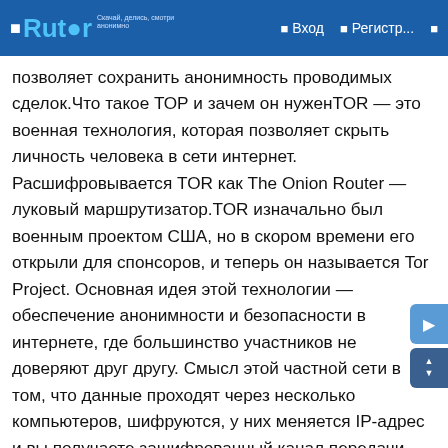Rutor — Вход — Регистр...
позволяет сохранить анонимность проводимых сделок.Что такое ТОР и зачем он нуженTOR — это военная технология, которая позволяет скрыть личность человека в сети интернет. Расшифровывается TOR как The Onion Router — луковый маршрутизатор.TOR изначально был военным проектом США, но в скором времени его открыли для спонсоров, и теперь он называется Tor Project. Основная идея этой технологии — обеспечение анонимности и безопасности в интернете, где большинство участников не доверяют друг другу. Смысл этой частной сети в том, что данные проходят через несколько компьютеров, шифруются, у них меняется IP-адрес и вы получаете зашифрованный канал передачи данных.Что обязательно необходимо учитывать при работе с ОМГ сайтом?От не добросовестных сделок с различными магазинами при посещении сайта не застрахован ни один покупатель.В связи с этим модераторы портала рекомендуют:обращать внимание на отзывы. Отзывы покупателей это важнейший критерий покупки. Мнения могут повлиять на окончательное